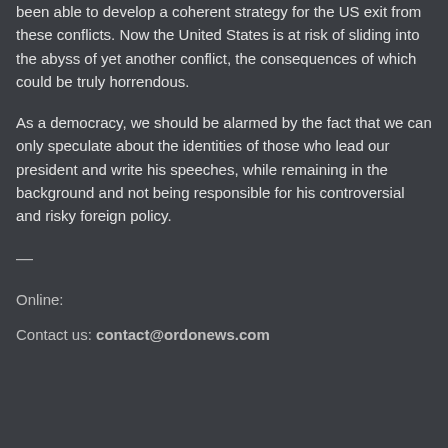been able to develop a coherent strategy for the US exit from these conflicts. Now the United States is at risk of sliding into the abyss of yet another conflict, the consequences of which could be truly horrendous.
As a democracy, we should be alarmed by the fact that we can only speculate about the identities of those who lead our president and write his speeches, while remaining in the background and not being responsible for his controversial and risky foreign policy.
—
Online:
Contact us: contact@ordonews.com